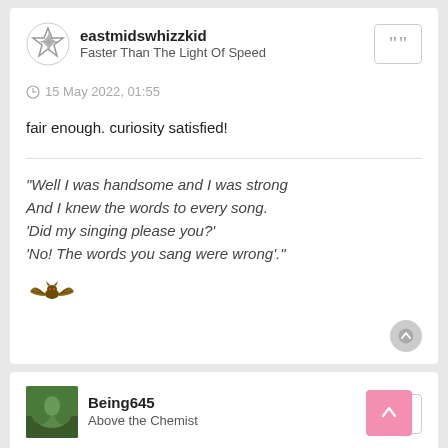eastmidswhizzkid | Faster Than The Light Of Speed
15 May 2022, 01:55
fair enough. curiosity satisfied!
"Well I was handsome and I was strong
And I knew the words to every song.
'Did my singing please you?'
'No! The words you sang were wrong'."
Being645 | Above the Chemist